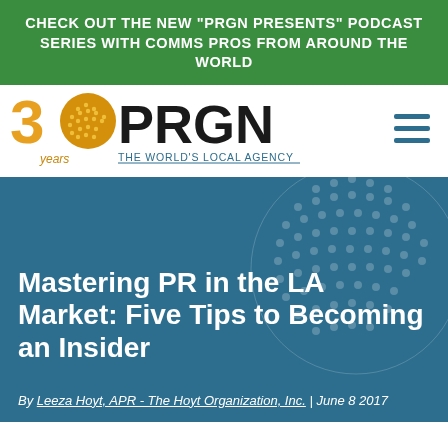CHECK OUT THE NEW "PRGN PRESENTS" PODCAST SERIES WITH COMMS PROS FROM AROUND THE WORLD
[Figure (logo): PRGN 30 years logo — The World's Local Agency]
Mastering PR in the LA Market: Five Tips to Becoming an Insider
By Leeza Hoyt, APR - The Hoyt Organization, Inc. | June 8 2017